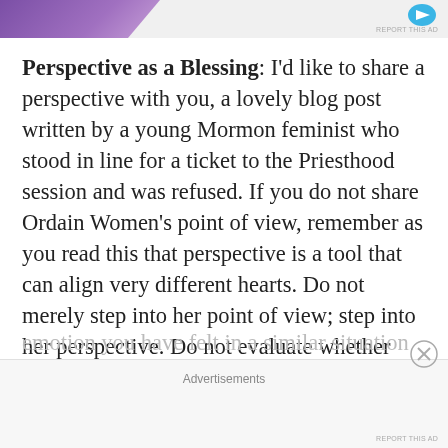[Figure (other): Advertisement banner at the top with purple diagonal shape and blue icon, with REPORT THIS AD label]
Perspective as a Blessing: I'd like to share a perspective with you, a lovely blog post written by a young Mormon feminist who stood in line for a ticket to the Priesthood session and was refused. If you do not share Ordain Women's point of view, remember as you read this that perspective is a tool that can align very different hearts. Do not merely step into her point of view; step into her perspective. Do not evaluate whether she is right or wrong according to your thinking. I ask that you feel the emotion in her. It may not be the emotion you have felt in a similar situation (it
Advertisements